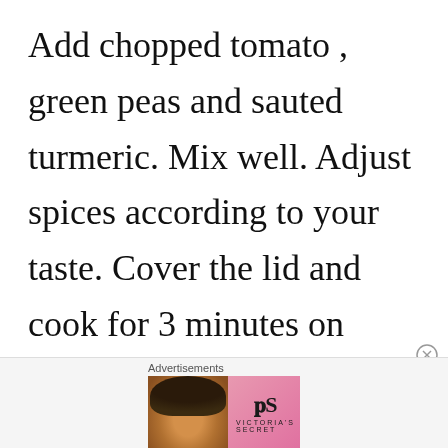Add chopped tomato , green peas and sauted turmeric. Mix well. Adjust spices according to your taste. Cover the lid and cook for 3 minutes on slowest flame. Consistency of curry can be adjustable as per choice.
[Figure (other): Advertisement banner for Victoria's Secret showing a woman's photo on the left, VS logo with 'VICTORIA'S SECRET' text in center on pink background, 'SHOP THE COLLECTION' text, and a 'SHOP NOW' white button on the right.]